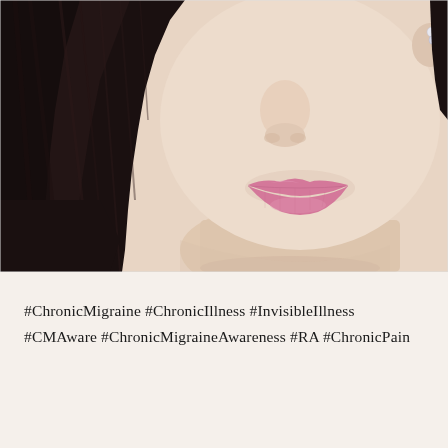[Figure (photo): Close-up photo of a woman's face from nose to chin, showing pink lips, pale skin, and long black hair. She is wearing a small crystal earring visible on the right side.]
#ChronicMigraine #ChronicIllness #InvisibleIllness #CMAware #ChronicMigraineAwareness #RA #ChronicPain